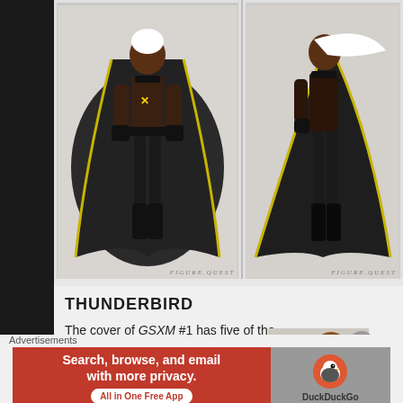[Figure (photo): Two action figures of Storm from X-Men, one showing front view with black cape with yellow trim, one showing side/back view. Watermark reads 'Figure Quest' at bottom right.]
THUNDERBIRD
The cover of GSXM #1 has five of the most prominent X-Men in the franchise…and Thunderbird.  Thunderbird's primary contribution to the team
[Figure (photo): Partial view of a Thunderbird action figure with red headband]
Advertisements
[Figure (screenshot): DuckDuckGo advertisement banner: 'Search, browse, and email with more privacy. All in One Free App' with DuckDuckGo logo on right side]